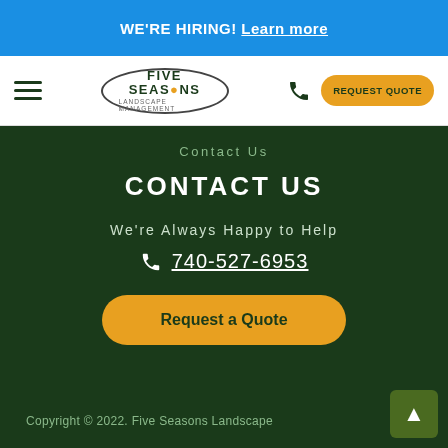WE'RE HIRING! Learn more
[Figure (logo): Five Seasons Landscape Management logo in an oval shape]
Contact Us
CONTACT US
We're Always Happy to Help
740-527-6953
Request a Quote
Copyright © 2022. Five Seasons Landscape